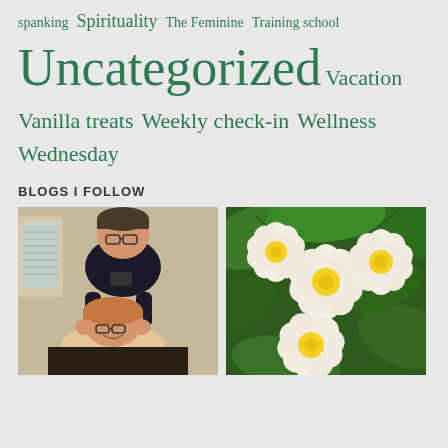spanking  Spirituality  The Feminine  Training school
Uncategorized  Vacation
Vanilla treats  Weekly check-in  Wellness  Wednesday
BLOGS I FOLLOW
[Figure (photo): Photo of a man and woman, the man standing behind the woman who is reclining, both wearing glasses, indoors]
[Figure (photo): Close-up photo of white and yellow plumeria/frangipani flowers with green leaves]